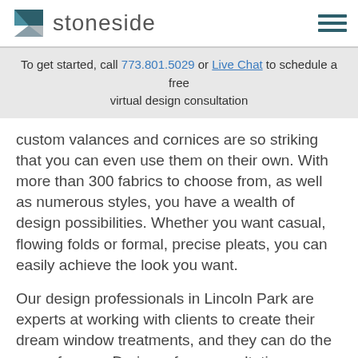stoneside
To get started, call 773.801.5029 or Live Chat to schedule a free virtual design consultation
custom valances and cornices are so striking that you can even use them on their own. With more than 300 fabrics to choose from, as well as numerous styles, you have a wealth of design possibilities. Whether you want casual, flowing folds or formal, precise pleats, you can easily achieve the look you want.
Our design professionals in Lincoln Park are experts at working with clients to create their dream window treatments, and they can do the same for you. During a free consultation, our designer walks you through the process of selecting the right window coverings and valances to suit your taste and fit your budget. You can also get fabric samples to see what your finished valances will look like in